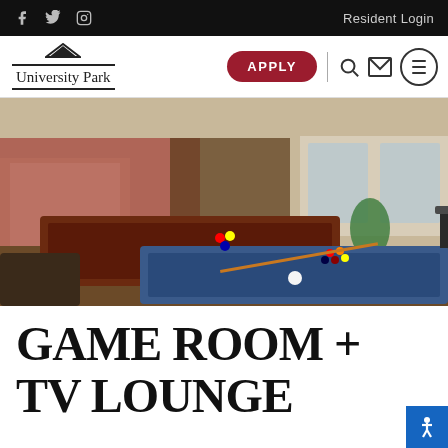f  Twitter  Instagram  |  Resident Login
[Figure (logo): University Park apartment logo with house icon above text]
APPLY
[Figure (photo): Game room with two blue billiard/pool tables, bar seating in background, red accent wall, large windows]
GAME ROOM + TV LOUNGE